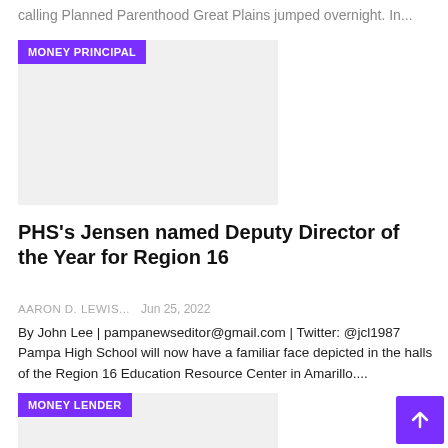calling Planned Parenthood Great Plains jumped overnight. In...
[Figure (other): Image placeholder with MONEY PRINCIPAL badge, light gray background]
PHS's Jensen named Deputy Director of the Year for Region 16
AARON D. LEWIS...   Jun 25, 2022
By John Lee | pampanewseditor@gmail.com | Twitter: @jcl1987 Pampa High School will now have a familiar face depicted in the halls of the Region 16 Education Resource Center in Amarillo....
[Figure (other): Image placeholder with MONEY LENDER badge, light gray background]